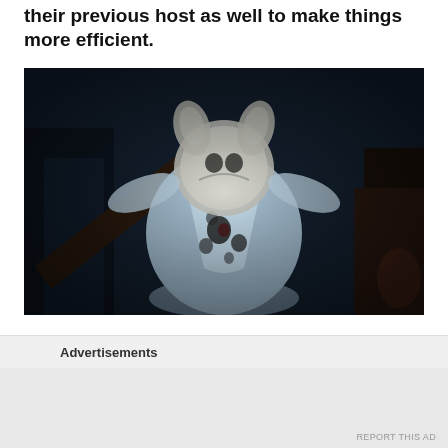their previous host as well to make things more efficient.
[Figure (illustration): Dark animated scene showing a cartoonish white creature/character viewed from below against a dark blue-toned background. The character appears to be wearing a light blue outfit with dark spots.]
Advertisements
[Figure (other): Advertisement placeholder area with gray background]